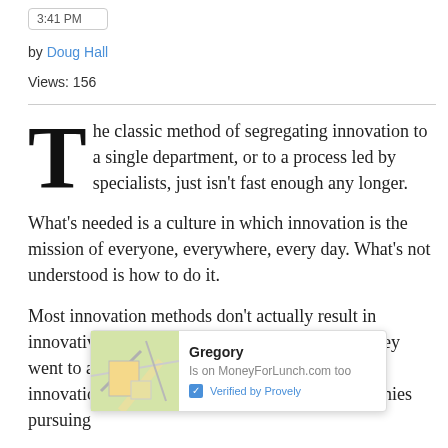3:41 PM
by Doug Hall
Views: 156
The classic method of segregating innovation to a single department, or to a process led by specialists, just isn't fast enough any longer. What's needed is a culture in which innovation is the mission of everyone, everywhere, every day. What's not understood is how to do it.

Most innovation methods don't actually result in innovative sol... rcent of inn... s. Most bus... success if they went to a Las Vegas casino and gambled their innovation investment on one big bet. But companies pursuing
[Figure (screenshot): A popup notification showing a map thumbnail on the left, with user name 'Gregory', subtitle 'Is on MoneyForLunch.com too', and 'Verified by Provely' badge]